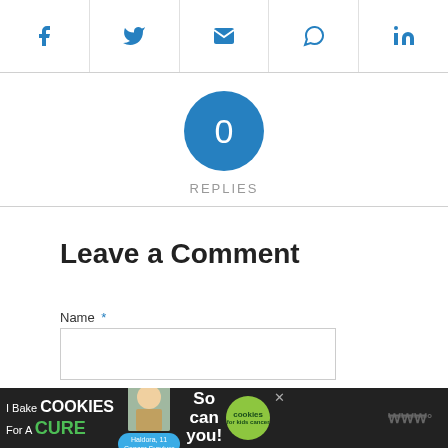[Figure (other): Social share icons bar: Facebook, Twitter, Email, WhatsApp, LinkedIn]
0 REPLIES
Leave a Comment
Name *
Email *
[Figure (infographic): Bottom advertisement banner: 'I Bake COOKIES For A CURE - Haldora, 11 Cancer Survivor - So can you! cookies for kids cancer']